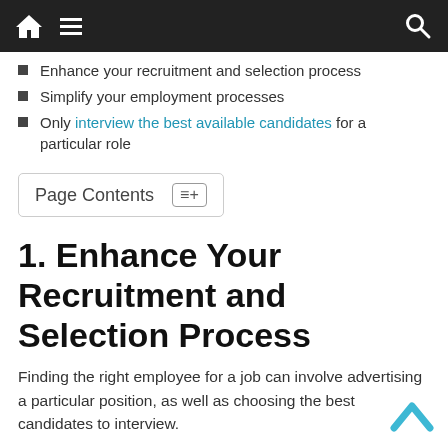Navigation bar with home, menu, and search icons
Enhance your recruitment and selection process
Simplify your employment processes
Only interview the best available candidates for a particular role
Page Contents
1. Enhance Your Recruitment and Selection Process
Finding the right employee for a job can involve advertising a particular position, as well as choosing the best candidates to interview.